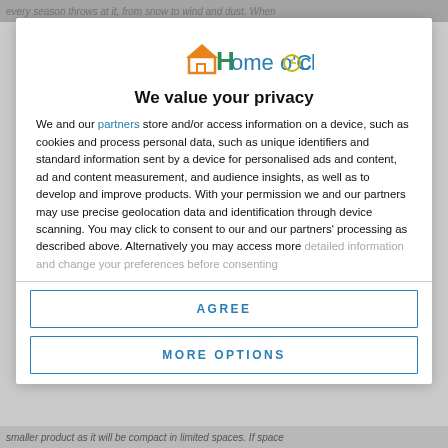every season throws at it, from snow to wind and dust. When
[Figure (logo): Home o'Clock logo with orange house icon and teal clock symbol]
We value your privacy
We and our partners store and/or access information on a device, such as cookies and process personal data, such as unique identifiers and standard information sent by a device for personalised ads and content, ad and content measurement, and audience insights, as well as to develop and improve products. With your permission we and our partners may use precise geolocation data and identification through device scanning. You may click to consent to our and our partners' processing as described above. Alternatively you may access more detailed information and change your preferences before consenting
AGREE
MORE OPTIONS
smaller product as it will be compact in limited spaces. If space